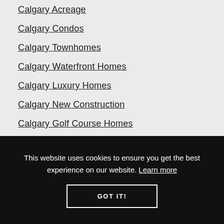Calgary Acreage
Calgary Condos
Calgary Townhomes
Calgary Waterfront Homes
Calgary Luxury Homes
Calgary New Construction
Calgary Golf Course Homes
Calgary Vacant Land & Lots (partial)
This website uses cookies to ensure you get the best experience on our website. Learn more
GOT IT!